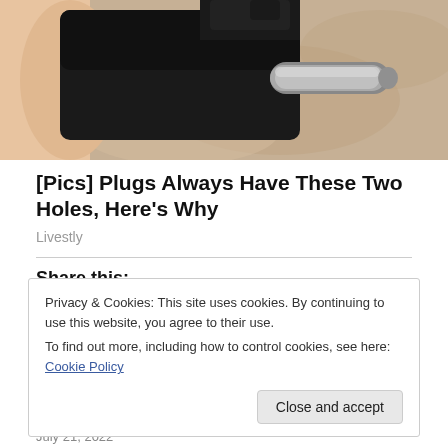[Figure (photo): Close-up photo of a black electrical plug with metal prong, held by a finger, against a granite/stone countertop background.]
[Pics] Plugs Always Have These Two Holes, Here's Why
Livestly
Share this:
Privacy & Cookies: This site uses cookies. By continuing to use this website, you agree to their use.
To find out more, including how to control cookies, see here: Cookie Policy
July 21, 2022